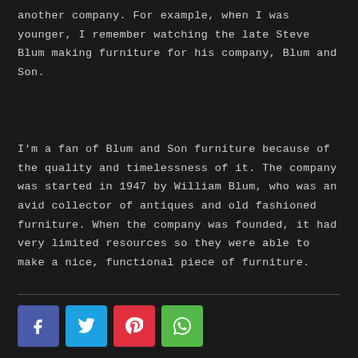another company. For example, when I was younger, I remember watching the late Steve Blum making furniture for his company, Blum and Son.
I'm a fan of Blum and Son furniture because of the quality and timelessness of it. The company was started in 1947 by William Blum, who was an avid collector of antiques and old fashioned furniture. When the company was founded, it had very limited resources so they were able to make a nice, functional piece of furniture.
[Figure (other): Social media share buttons: Facebook (blue), Twitter (cyan), Pinterest (red), WhatsApp (green)]